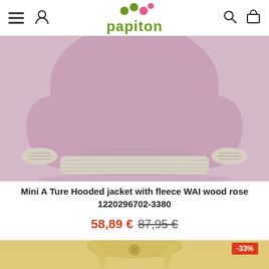papiton (navigation header with hamburger menu, user icon, search icon, cart icon)
[Figure (photo): Photo of a pink/mauve hooded jacket with fleece, showing the body and sleeves with ribbed cuffs against a white background]
Mini A Ture Hooded jacket with fleece WAI wood rose 1220296702-3380
58,89 € 87,95 €
[Figure (photo): Partial photo of a yellow jacket with a button, showing a -33% discount badge in the bottom right]
-33%